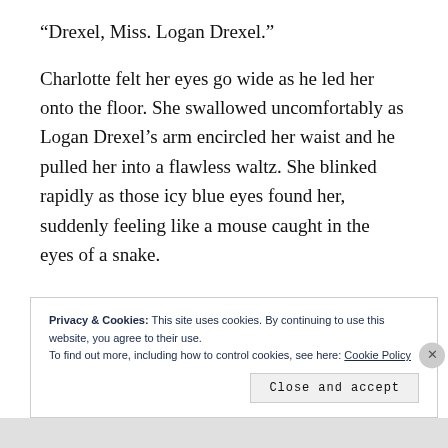“Drexel, Miss. Logan Drexel.”
Charlotte felt her eyes go wide as he led her onto the floor. She swallowed uncomfortably as Logan Drexel’s arm encircled her waist and he pulled her into a flawless waltz. She blinked rapidly as those icy blue eyes found her, suddenly feeling like a mouse caught in the eyes of a snake.
Privacy & Cookies: This site uses cookies. By continuing to use this website, you agree to their use.
To find out more, including how to control cookies, see here: Cookie Policy
Close and accept